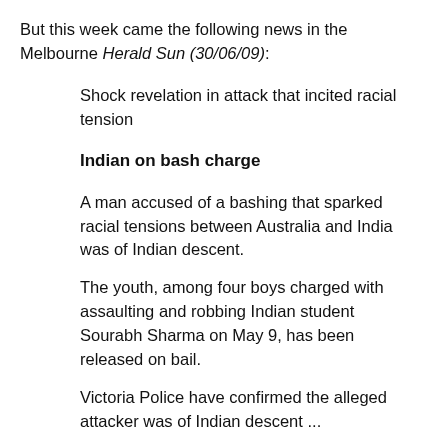But this week came the following news in the Melbourne Herald Sun (30/06/09):
Shock revelation in attack that incited racial tension
Indian on bash charge
A man accused of a bashing that sparked racial tensions between Australia and India was of Indian descent.
The youth, among four boys charged with assaulting and robbing Indian student Sourabh Sharma on May 9, has been released on bail.
Victoria Police have confirmed the alleged attacker was of Indian descent ...
Mr Sharma siad he did not know any of the men were Indian. "I don't know who they were," he